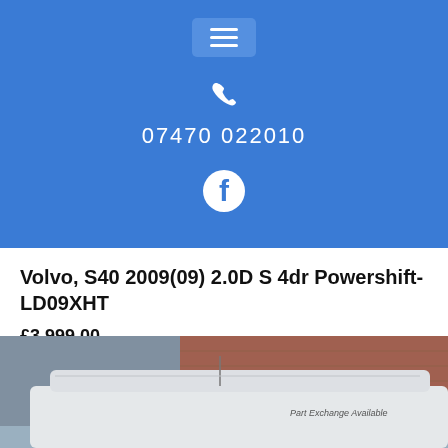Menu icon, phone icon, 07470 022010, Facebook icon
Volvo, S40 2009(09) 2.0D S 4dr Powershift-LD09XHT
£3,999.00
[Figure (photo): Photo of a white van/car in a car lot with a brick wall and grey building in the background. Text on the vehicle reads 'Part Exchange Available'.]